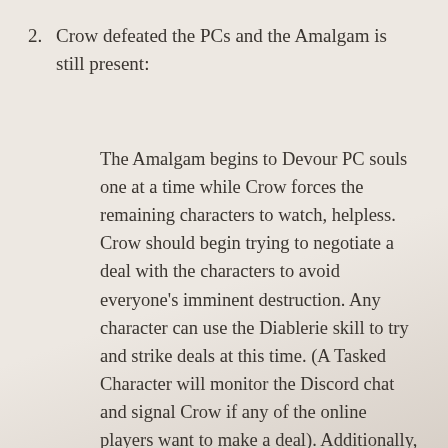2. Crow defeated the PCs and the Amalgam is still present:
The Amalgam begins to Devour PC souls one at a time while Crow forces the remaining characters to watch, helpless. Crow should begin trying to negotiate a deal with the characters to avoid everyone’s imminent destruction. Any character can use the Diablerie skill to try and strike deals at this time. (A Tasked Character will monitor the Discord chat and signal Crow if any of the online players want to make a deal). Additionally, a character with the Séance skill can choose to sacrifice